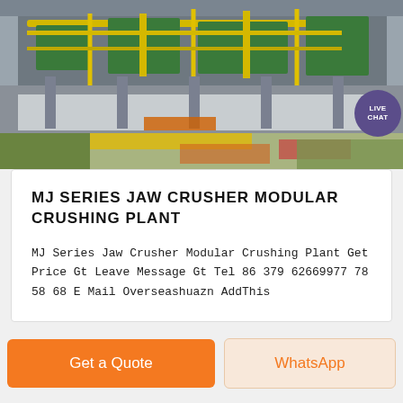[Figure (photo): Industrial jaw crusher modular crushing plant facility with green and yellow steel structures, piping, and machinery. Floor has yellow, red, and green painted markings. A purple speech bubble with 'LIVE CHAT' text is overlaid in the top right corner.]
MJ SERIES JAW CRUSHER MODULAR CRUSHING PLANT
MJ Series Jaw Crusher Modular Crushing Plant Get Price Gt Leave Message Gt Tel 86 379 62669977 78 58 68 E Mail Overseashuazn AddThis
Get a Quote
WhatsApp